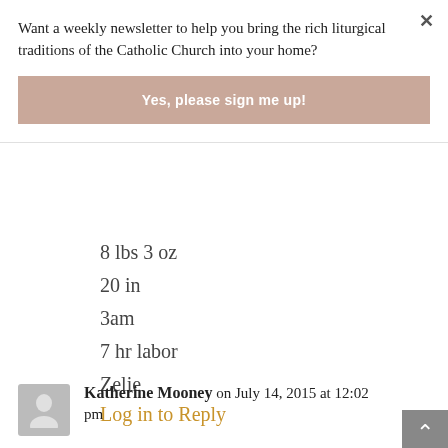Want a weekly newsletter to help you bring the rich liturgical traditions of the Catholic Church into your home?
Yes, please sign me up!
8 lbs 3 oz
20 in
3am
7 hr labor
Zelie
Log in to Reply
Katherine Mooney on July 14, 2015 at 12:02 pm